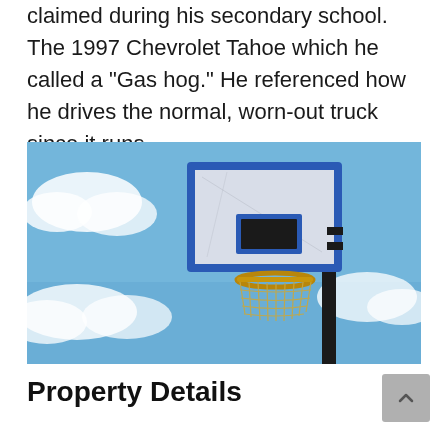claimed during his secondary school. The 1997 Chevrolet Tahoe which he called a "Gas hog." He referenced how he drives the normal, worn-out truck since it runs.
[Figure (photo): Outdoor basketball hoop with blue and white backboard against a partly cloudy blue sky.]
Property Details